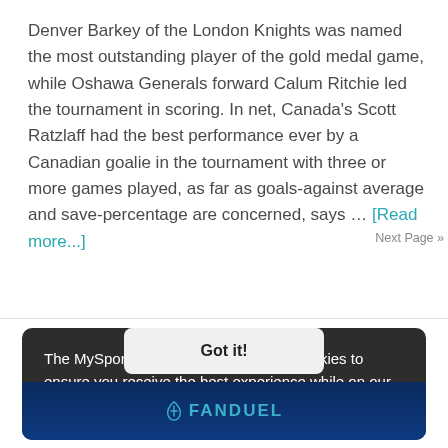Denver Barkey of the London Knights was named the most outstanding player of the gold medal game, while Oshawa Generals forward Calum Ritchie led the tournament in scoring. In net, Canada's Scott Ratzlaff had the best performance ever by a Canadian goalie in the tournament with three or more games played, as far as goals-against average and save-percentage are concerned, says ... [Read more...]
The MySports.Today™ Network uses cookies to ensure you receive the best experience while on our network of websites. Learn more
Next Page »
Got it!
[Figure (logo): FanDuel logo in blue/teal on dark blue bar at the bottom of the cookie banner]